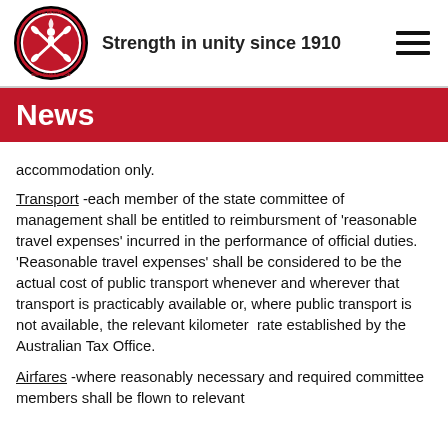[Figure (logo): Fire Brigade Employees Union circular logo with firefighter emblem and crossed axes]
Strength in unity since 1910
News
accommodation only.
Transport -each member of the state committee of management shall be entitled to reimbursment of 'reasonable travel expenses' incurred in the performance of official duties. 'Reasonable travel expenses' shall be considered to be the actual cost of public transport whenever and wherever that transport is practicably available or, where public transport is not available, the relevant kilometer rate established by the Australian Tax Office.
Airfares -where reasonably necessary and required committee members shall be flown to relevant